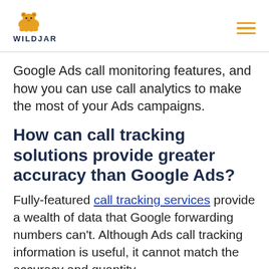WILDJAR
Google Ads call monitoring features, and how you can use call analytics to make the most of your Ads campaigns.
How can call tracking solutions provide greater accuracy than Google Ads?
Fully-featured call tracking services provide a wealth of data that Google forwarding numbers can't. Although Ads call tracking information is useful, it cannot match the accuracy and quantity